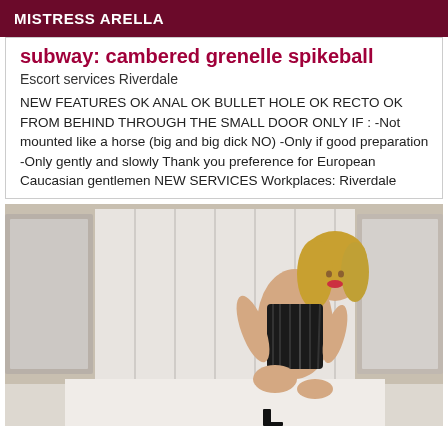MISTRESS ARELLA
subway: cambered grenelle spikeball
Escort services Riverdale
NEW FEATURES OK ANAL OK BULLET HOLE OK RECTO OK FROM BEHIND THROUGH THE SMALL DOOR ONLY IF : -Not mounted like a horse (big and big dick NO) -Only if good preparation -Only gently and slowly Thank you preference for European Caucasian gentlemen NEW SERVICES Workplaces: Riverdale
[Figure (photo): Woman in black lingerie posing in a room with white paneled walls and mirrors]